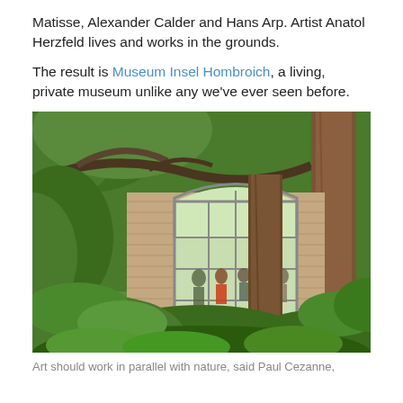Matisse, Alexander Calder and Hans Arp. Artist Anatol Herzfeld lives and works in the grounds.
The result is Museum Insel Hombroich, a living, private museum unlike any we've ever seen before.
[Figure (photo): A glass-fronted brick pavilion building surrounded by lush green trees and dense shrubbery, with visitors visible inside through the large curved glass windows. Tree branches frame the top of the image.]
Art should work in parallel with nature, said Paul Cezanne,